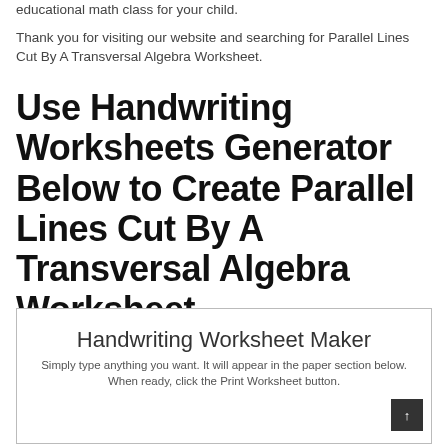educational math class for your child.
Thank you for visiting our website and searching for Parallel Lines Cut By A Transversal Algebra Worksheet.
Use Handwriting Worksheets Generator Below to Create Parallel Lines Cut By A Transversal Algebra Worksheet
Handwriting Worksheet Maker
Simply type anything you want. It will appear in the paper section below. When ready, click the Print Worksheet button.